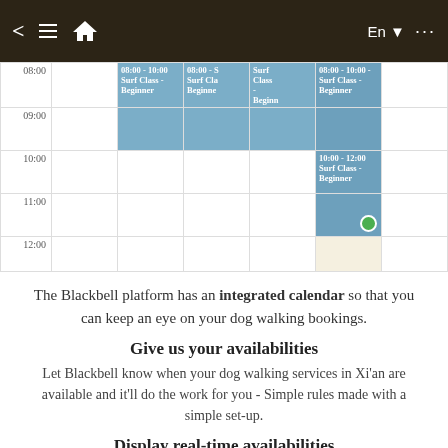[Figure (screenshot): Mobile app navigation bar with back arrow, hamburger menu, home icon, En language selector, and ellipsis menu on dark brown background]
[Figure (screenshot): Calendar schedule view showing time slots from 08:00 to 12:00 with multiple 'Surf Class - Beginner' events in blue blocks across different columns, and a green availability dot]
The Blackbell platform has an integrated calendar so that you can keep an eye on your dog walking bookings.
Give us your availabilities
Let Blackbell know when your dog walking services in Xi'an are available and it'll do the work for you - Simple rules made with a simple set-up.
Display real-time availabilities